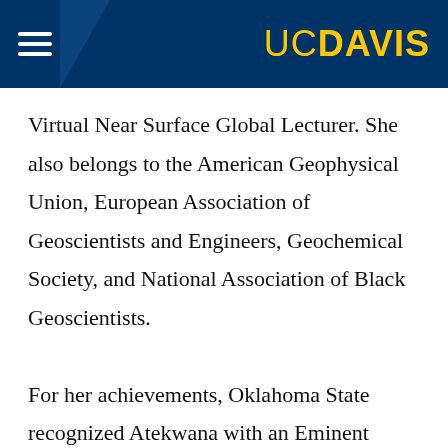UC DAVIS
Virtual Near Surface Global Lecturer. She also belongs to the American Geophysical Union, European Association of Geoscientists and Engineers, Geochemical Society, and National Association of Black Geoscientists.

For her achievements, Oklahoma State recognized Atekwana with an Eminent Faculty award, Regents Distinguished Research Award, an endowed chair